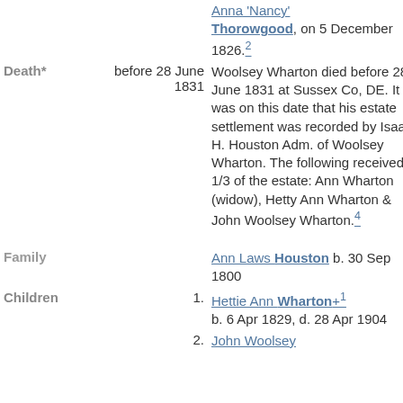Anna 'Nancy' Thorowgood, on 5 December 1826.[2]
Death* before 28 June 1831 — Woolsey Wharton died before 28 June 1831 at Sussex Co, DE. It was on this date that his estate settlement was recorded by Isaac H. Houston Adm. of Woolsey Wharton. The following received 1/3 of the estate: Ann Wharton (widow), Hetty Ann Wharton & John Woolsey Wharton.[4]
Family — Ann Laws Houston b. 30 Sep 1800
Children 1. Hettie Ann Wharton+ [1] b. 6 Apr 1829, d. 28 Apr 1904
2. John Woolsey